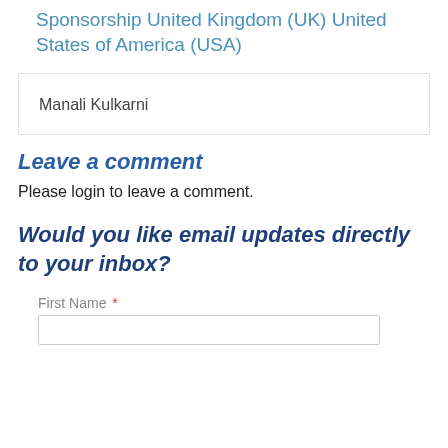Sponsorship United Kingdom (UK) United States of America (USA)
Manali Kulkarni
Leave a comment
Please login to leave a comment.
Would you like email updates directly to your inbox?
First Name *